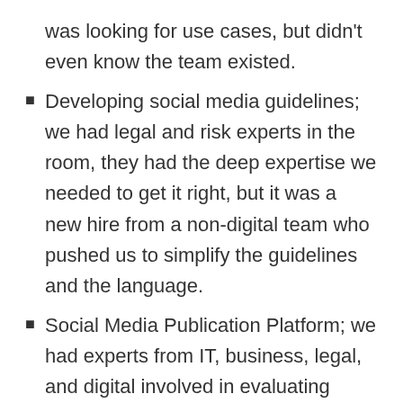was looking for use cases, but didn't even know the team existed.
Developing social media guidelines; we had legal and risk experts in the room, they had the deep expertise we needed to get it right, but it was a new hire from a non-digital team who pushed us to simplify the guidelines and the language.
Social Media Publication Platform; we had experts from IT, business, legal, and digital involved in evaluating possible tools. It sounds a bit like that old trope of six blind men describing an elephant, but in fact we had